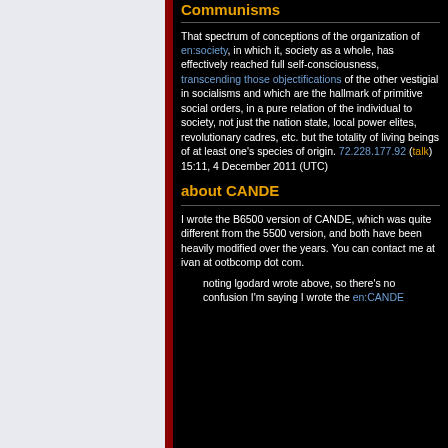A Prodigious Definition of Communisms
That spectrum of conceptions of the organization of en:society, in which it, society as a whole, has effectively reached full self-consciousness, transcending those objectifications of the other vestigial in socialisms and which are the hallmark of primitive social orders, in a pure relation of the individual to society, not just the nation state, local power elites, revolutionary cadres, etc. but the totality of living beings of at least one's species of origin. 72.228.177.92 (talk) 15:11, 4 December 2011 (UTC)
about CANDE
I wrote the B6500 version of CANDE, which was quite different from the 5500 version, and both have been heavily modified over the years. You can contact me at ivan at ootbcomp dot com.
noting lgodard wrote above, so there's no confusion I'm saying I wrote the en:CANDE